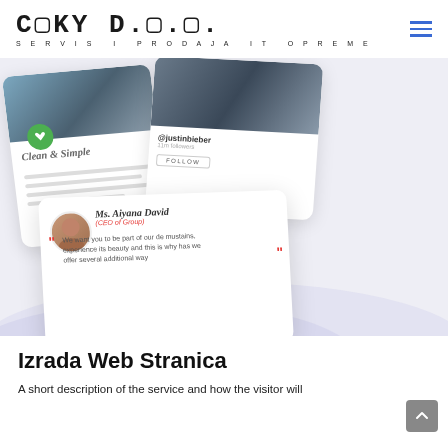CEKY D.O.O. SERVIS I PRODAJA IT OPREME
[Figure (screenshot): Website mockup screenshots showing mobile UI cards: a 'Clean & Simple' app card with green heart icon and text lines, a social profile card with @justinbieber username and FOLLOW button, and a testimonial card featuring Ms. Aiyana David (CEO of Group) with a quote about being part of 'de mustains' experience.]
Izrada Web Stranica
A short description of the service and how the visitor will